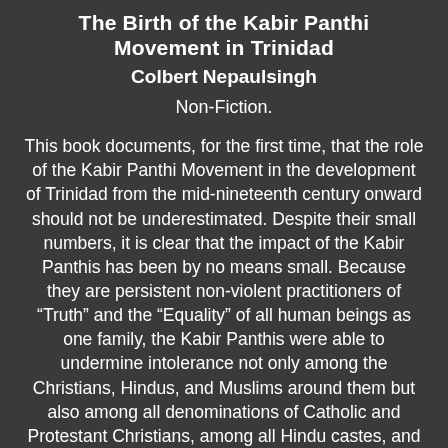The Birth of the Kabir Panthi Movement in Trinidad
Colbert Nepaulsingh
Non-Fiction.
This book documents, for the first time, that the role of the Kabir Panthi Movement in the development of Trinidad from the mid-nineteenth century onward should not be underestimated. Despite their small numbers, it is clear that the impact of the Kabir Panthis has been by no means small. Because they are persistent non-violent practitioners of “Truth” and the “Equality” of all human beings as one family, the Kabir Panthis were able to undermine intolerance not only among the Christians, Hindus, and Muslims around them but also among all denominations of Catholic and Protestant Christians, among all Hindu castes, and between the major Muslim sects, all the above without compromising their own Kabir Panthi beliefs. By quietly working against prejudice and intolerance, Kabir Panthis played a significant...